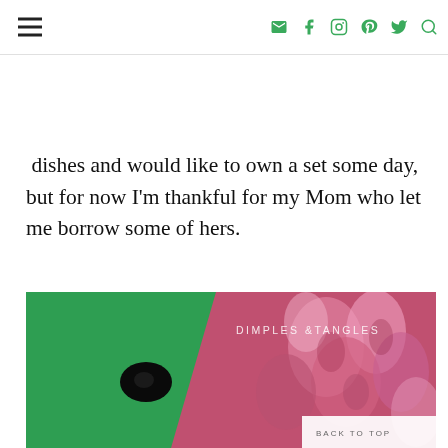Navigation header with hamburger menu and social icons (email, facebook, instagram, pinterest, twitter, search)
dishes and would like to own a set some day, but for now I'm thankful for my Mom who let me borrow some of hers.
[Figure (photo): Green cornhole board with a circular hole on the left, and pink/red flowers on the right with 'DIMPLES & TANGLES' text overlay. A 'BACK TO TOP' button appears in the lower right corner.]